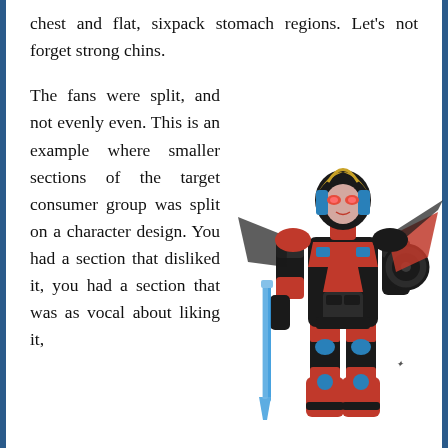chest and flat, sixpack stomach regions. Let's not forget strong chins.
The fans were split, and not evenly even. This is an example where smaller sections of the target consumer group was split on a character design. You had a section that disliked it, you had a section that was as vocal about liking it, and there...
[Figure (illustration): A female Transformer robot character illustration in black, red, and blue armor with a blue energy sword, wheel on the back, and gold helmet detail.]